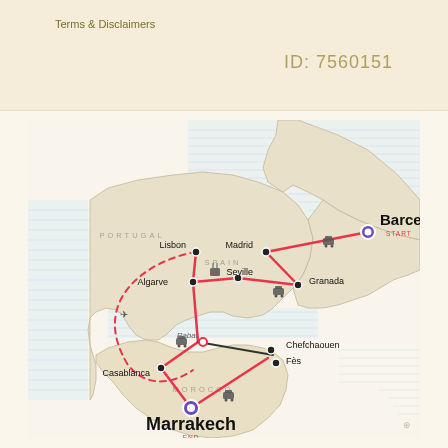Terms & Disclaimers
ID: 7560151
[Figure (map): Travel route map showing itinerary from Barcelona (START) through Madrid, Granada, Seville, Algarve, Lisbon, Rabat, Casablanca, Chefchaouen, Fes, ending at Marrakech (END) in Morocco. Red solid lines show main route, red dashed line shows optional loop through Portugal. Cities marked with black dots, start/end with purple circles. Country labels: PORTUGAL, SPAIN, MOROCCO. Transport icons (bus/train/plane) shown along routes.]